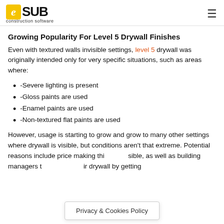eSUB construction software
Growing Popularity For Level 5 Drywall Finishes
Even with textured walls invisible settings, level 5 drywall was originally intended only for very specific situations, such as areas where:
-Severe lighting is present
-Gloss paints are used
-Enamel paints are used
-Non-textured flat paints are used
However, usage is starting to grow and grow to many other settings where drywall is visible, but conditions aren't that extreme. Potential reasons include price making thi... well as building managers t... ir drywall by getting
Privacy & Cookies Policy